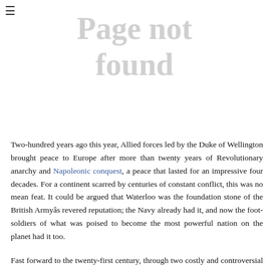☰
Page not
found
Two-hundred years ago this year, Allied forces led by the Duke of Wellington brought peace to Europe after more than twenty years of Revolutionary anarchy and Napoleonic conquest, a peace that lasted for an impressive four decades. For a continent scarred by centuries of constant conflict, this was no mean feat. It could be argued that Waterloo was the foundation stone of the British Armyâs revered reputation; the Navy already had it, and now the foot-soldiers of what was poised to become the most powerful nation on the planet had it too.
Fast forward to the twenty-first century, through two costly and controversial foreign wars, and the British Army is not only low on morale, but increasingly low on numbers. The most recentÃ plans to